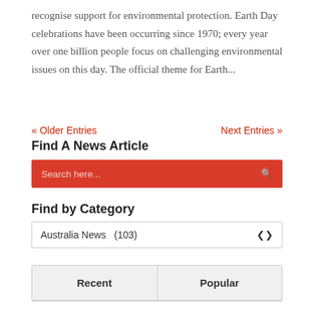recognise support for environmental protection. Earth Day celebrations have been occurring since 1970; every year over one billion people focus on challenging environmental issues on this day. The official theme for Earth...
« Older Entries    Next Entries »
Find A News Article
Search here...
Find by Category
Australia News  (103)
| Recent | Popular |
| --- | --- |